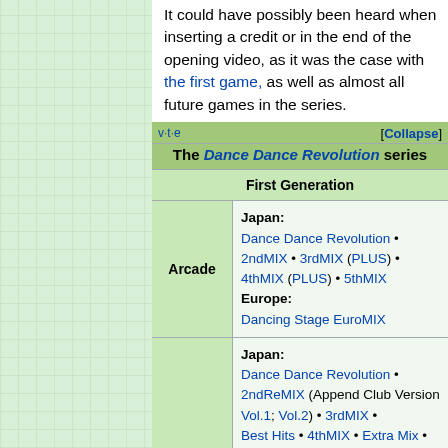It could have possibly been heard when inserting a credit or in the end of the opening video, as it was the case with the first game, as well as almost all future games in the series.
| v·t·e | [Collapse] | The Dance Dance Revolution series |
| --- | --- | --- |
| First Generation |  |  |
| Arcade | Japan: | Dance Dance Revolution • 2ndMIX • 3rdMIX (PLUS) • 4thMIX (PLUS) • 5thMIX
Europe:
Dancing Stage EuroMIX |
|  | Japan: | Dance Dance Revolution • 2ndReMIX (Append Club Version Vol.1; Vol.2) • 3rdMIX • Best Hits • 4thMIX • Extra Mix • |